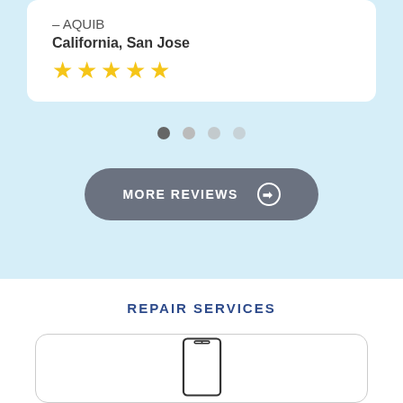- AQUIB
California, San Jose
[Figure (other): Five yellow star rating icons]
[Figure (other): Carousel pagination dots: 4 dots, first is dark/active, rest are light gray]
MORE REVIEWS ➔
REPAIR SERVICES
[Figure (illustration): Outline illustration of a smartphone/mobile phone]